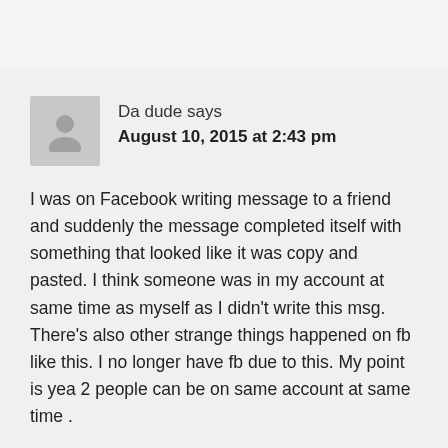Da dude says
August 10, 2015 at 2:43 pm
I was on Facebook writing message to a friend and suddenly the message completed itself with something that looked like it was copy and pasted. I think someone was in my account at same time as myself as I didn't write this msg. There's also other strange things happened on fb like this. I no longer have fb due to this. My point is yea 2 people can be on same account at same time .